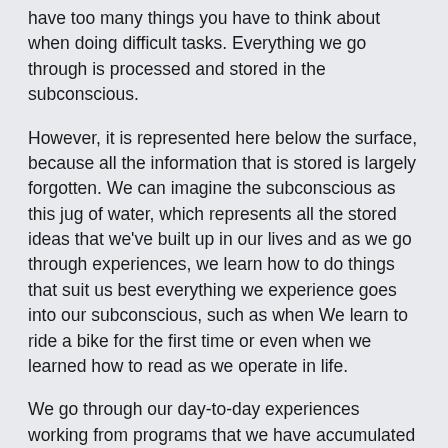have too many things you have to think about when doing difficult tasks. Everything we go through is processed and stored in the subconscious.
However, it is represented here below the surface, because all the information that is stored is largely forgotten. We can imagine the subconscious as this jug of water, which represents all the stored ideas that we've built up in our lives and as we go through experiences, we learn how to do things that suit us best everything we experience goes into our subconscious, such as when We learn to ride a bike for the first time or even when we learned how to read as we operate in life.
We go through our day-to-day experiences working from programs that we have accumulated over time, which we decided in the first instance were useful ways to behave instead of taking each situation as it comes. Naturally, we have the tendency to live life on autopilot and are used to